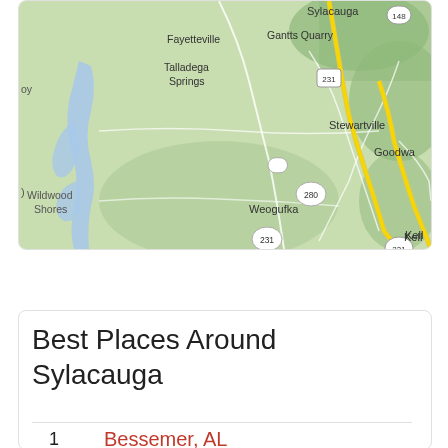[Figure (map): Google Maps screenshot showing area around Sylacauga, Alabama. Visible place names include Sylacauga, Fayetteville, Gantts Quarry, Talladega Springs, Stewartville, Goodwa(ter), Wildwood Shores, Weogufka, Kell(y). Route markers visible: 148, 231, 280. Yellow highways and blue water bodies on green terrain background.]
Best Places Around Sylacauga
1  Bessemer, AL